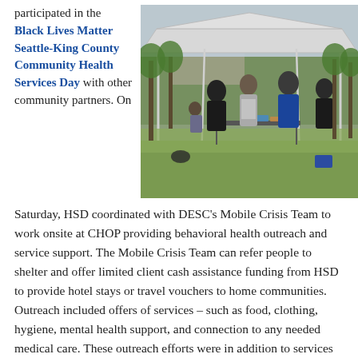participated in the Black Lives Matter Seattle-King County Community Health Services Day with other community partners. On
[Figure (photo): Outdoor event under a white canopy tent in a park. Several people are gathered around a table, with trees visible in the background.]
Saturday, HSD coordinated with DESC's Mobile Crisis Team to work onsite at CHOP providing behavioral health outreach and service support. The Mobile Crisis Team can refer people to shelter and offer limited client cash assistance funding from HSD to provide hotel stays or travel vouchers to home communities. Outreach included offers of services – such as food, clothing, hygiene, mental health support, and connection to any needed medical care. These outreach efforts were in addition to services from other City departments to keep the